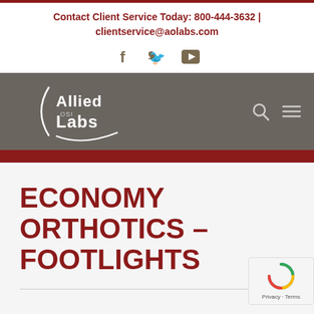Contact Client Service Today: 800-444-3632 | clientservice@aolabs.com
[Figure (screenshot): Social media icons: Facebook, Twitter, YouTube in gold/brown color]
[Figure (logo): Allied OSI Labs logo on dark gray navigation bar with search and menu icons]
ECONOMY ORTHOTICS – FOOTLIGHTS